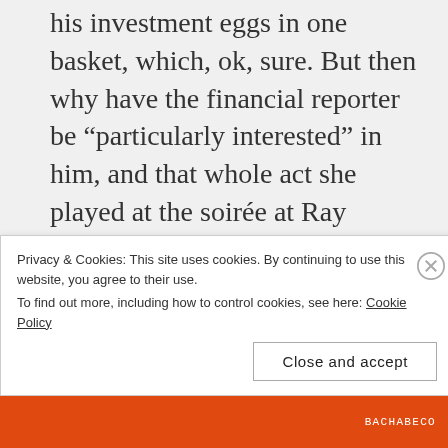his investment eggs in one basket, which, ok, sure. But then why have the financial reporter be “particularly interested” in him, and that whole act she played at the soirée at Ray Wise’s house, and especially the backroom conversation where Rich was SUPER sketch and hadn’t told Pacey something about his suspiciously fast-tracked promotion… it looked like it was being set-up to be a more sinister
Privacy & Cookies: This site uses cookies. By continuing to use this website, you agree to their use. To find out more, including how to control cookies, see here: Cookie Policy